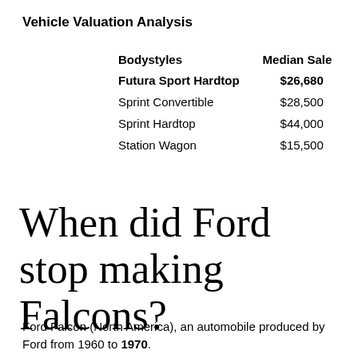Vehicle Valuation Analysis
| Bodystyles | Median Sale |
| --- | --- |
| Futura Sport Hardtop | $26,680 |
| Sprint Convertible | $28,500 |
| Sprint Hardtop | $44,000 |
| Station Wagon | $15,500 |
When did Ford stop making Falcons?
Ford Falcon (North America), an automobile produced by Ford from 1960 to 1970.